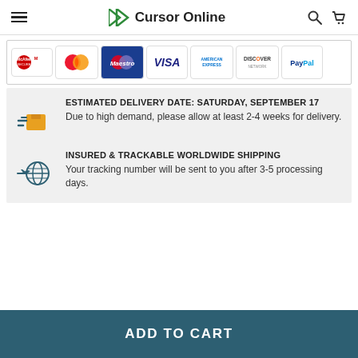Cursor Online
[Figure (logo): Payment method logos: McAfee SECURE, MasterCard, Maestro, VISA, American Express, Discover Network, PayPal]
ESTIMATED DELIVERY DATE: SATURDAY, SEPTEMBER 17
Due to high demand, please allow at least 2-4 weeks for delivery.
INSURED & TRACKABLE WORLDWIDE SHIPPING
Your tracking number will be sent to you after 3-5 processing days.
ADD TO CART